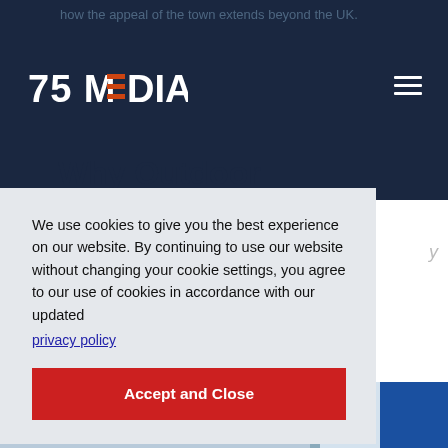how the appeal of the town extends beyond the UK.
[Figure (logo): 75 MEDIA logo in white on dark navy background with orange horizontal bars in the letter M]
Why Outdoor
We use cookies to give you the best experience on our website. By continuing to use our website without changing your cookie settings, you agree to our use of cookies in accordance with our updated privacy policy
Accept and Close